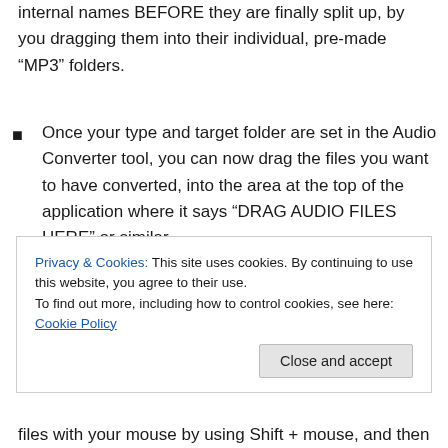internal names BEFORE they are finally split up, by you dragging them into their individual, pre-made “MP3” folders.
Once your type and target folder are set in the Audio Converter tool, you can now drag the files you want to have converted, into the area at the top of the application where it says “DRAG AUDIO FILES HERE” or similar.
Privacy & Cookies: This site uses cookies. By continuing to use this website, you agree to their use.
To find out more, including how to control cookies, see here: Cookie Policy
files with your mouse by using Shift + mouse, and then